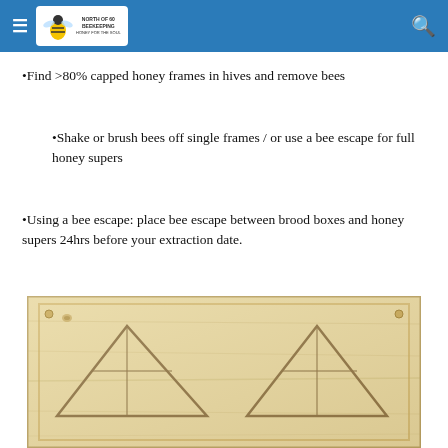North of 60 Beekeeping — navigation header
•Find >80% capped honey frames in hives and remove bees
•Shake or brush bees off single frames / or use a bee escape for full honey supers
•Using a bee escape: place bee escape between brood boxes and honey supers 24hrs before your extraction date.
[Figure (photo): Wooden bee escape board with triangular escape channels, viewed from above on a light background]